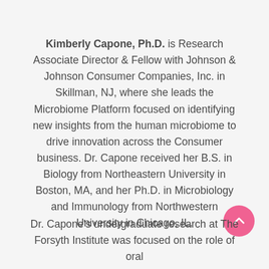Kimberly Capone, Ph.D. is Research Associate Director & Fellow with Johnson & Johnson Consumer Companies, Inc. in Skillman, NJ, where she leads the Microbiome Platform focused on identifying new insights from the human microbiome to drive innovation across the Consumer business. Dr. Capone received her B.S. in Biology from Northeastern University in Boston, MA, and her Ph.D. in Microbiology and Immunology from Northwestern University in Chicago, IL.
Dr. Capone's undergraduate research at The Forsyth Institute was focused on the role of oral